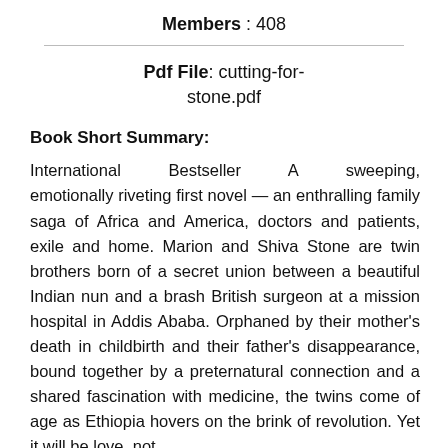Members : 408
Pdf File: cutting-for-stone.pdf
Book Short Summary:
International Bestseller A sweeping, emotionally riveting first novel — an enthralling family saga of Africa and America, doctors and patients, exile and home. Marion and Shiva Stone are twin brothers born of a secret union between a beautiful Indian nun and a brash British surgeon at a mission hospital in Addis Ababa. Orphaned by their mother's death in childbirth and their father's disappearance, bound together by a preternatural connection and a shared fascination with medicine, the twins come of age as Ethiopia hovers on the brink of revolution. Yet it will be love, not